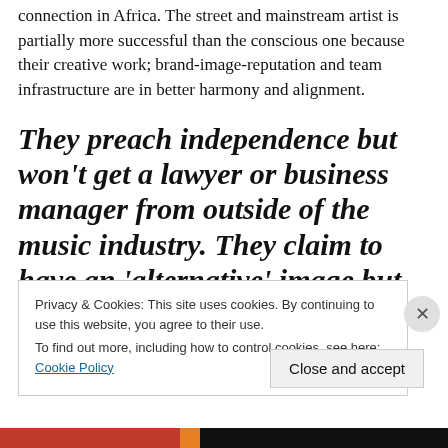connection in Africa. The street and mainstream artist is partially more successful than the conscious one because their creative work; brand-image-reputation and team infrastructure are in better harmony and alignment.
They preach independence but won't get a lawyer or business manager from outside of the music industry. They claim to have an 'alternative' image but won't
Privacy & Cookies: This site uses cookies. By continuing to use this website, you agree to their use. To find out more, including how to control cookies, see here: Cookie Policy
Close and accept